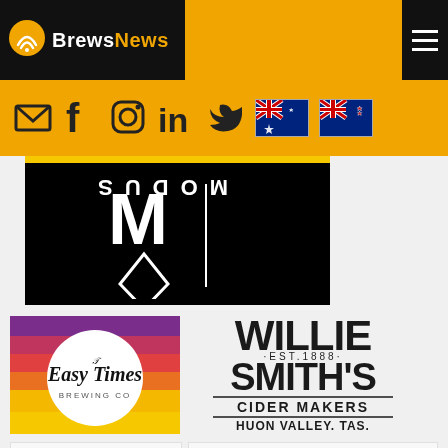[Figure (logo): BrewsNews website header with orange background, black logo box, WiFi/signal icon, BrewsNews text logo, hamburger menu on right]
[Figure (logo): Navigation icon bar with email, Facebook, Instagram, LinkedIn, Twitter icons and Australian and New Zealand flags on orange background]
[Figure (logo): Ballard Brewing Co watermark/logo in beige/tan script text on orange background]
[Figure (logo): Modus Brewing logo - white geometric diamond M shape with vertical MODUS text on black background]
[Figure (logo): Easy Times Brewing Co logo - colorful horizontal striped background (purple, pink, red, orange, yellow) with circular white badge and script text]
[Figure (logo): Willie Smiths Cider Makers - EST 1888 - Huon Valley, TAS. Bold dark distressed lettering logo]